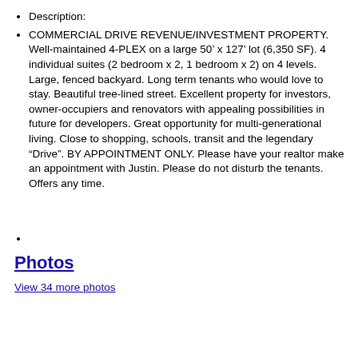Description:
COMMERCIAL DRIVE REVENUE/INVESTMENT PROPERTY. Well-maintained 4-PLEX on a large 50’ x 127’ lot (6,350 SF). 4 individual suites (2 bedroom x 2, 1 bedroom x 2) on 4 levels. Large, fenced backyard. Long term tenants who would love to stay. Beautiful tree-lined street. Excellent property for investors, owner-occupiers and renovators with appealing possibilities in future for developers. Great opportunity for multi-generational living. Close to shopping, schools, transit and the legendary “Drive”. BY APPOINTMENT ONLY. Please have your realtor make an appointment with Justin. Please do not disturb the tenants. Offers any time.
Photos
View 34 more photos